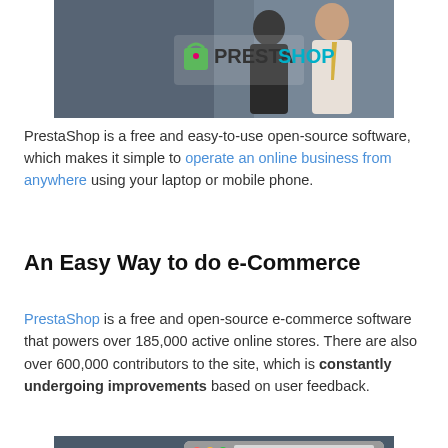[Figure (photo): PrestaShop banner image with two businesspeople and the PrestaShop logo]
PrestaShop is a free and easy-to-use open-source software, which makes it simple to operate an online business from anywhere using your laptop or mobile phone.
An Easy Way to do e-Commerce
PrestaShop is a free and open-source e-commerce software that powers over 185,000 active online stores. There are also over 600,000 contributors to the site, which is constantly undergoing improvements based on user feedback.
[Figure (screenshot): Screenshot of a PrestaShop-powered online store showing the Kusion fashion website interface]